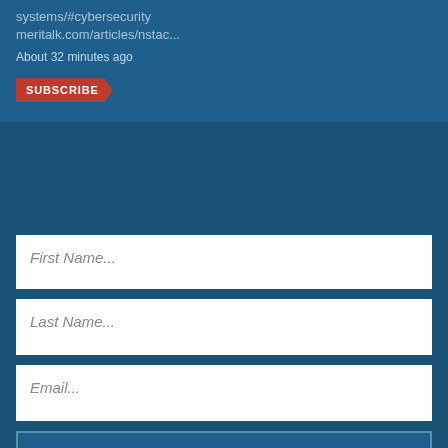systems/#cybersecurity meritalk.com/articles/nstac...
About 32 minutes ago
SUBSCRIBE
First Name...
Last Name...
Email...
SUBSCRIBE